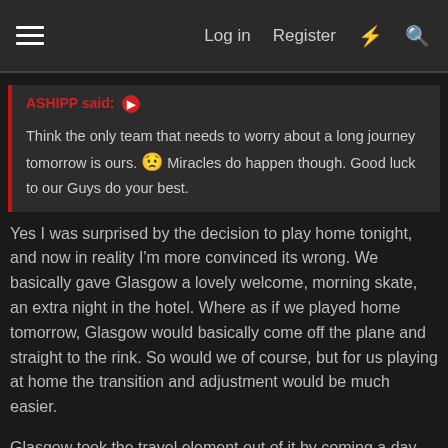Log in   Register
ASHIPP said: ➤
Think the only team that needs to worry about a long journey tomorrow is ours. 😟 Miracles do happen though. Good luck to our Guys do your best.
Yes I was surprised by the decision to play home tonight, and now in reality I'm more convinced its wrong. We basically gave Glasgow a lovely welcome, morning skate, an extra night in the hotel. Where as if we played home tomorrow, Glasgow would basically come off the plane and straight to the rink. So would we of course, but for us playing at home the transition and adjustment would be much easier.
Glasgow took the travel element out of it by coming a day early. That was seen as the advantage of playing home first. Now we have to go there and chase the game, which is of course harder to do away from home and after a travel day.